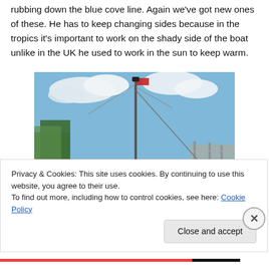rubbing down the blue cove line. Again we've got new ones of these. He has to keep changing sides because in the tropics it's important to work on the shady side of the boat unlike in the UK he used to work in the sun to keep warm.
[Figure (photo): A person standing on scaffolding or a ladder working on the side of a sailboat hull in a boatyard. The boat is white with a dark cove line. Trees and other boats are visible in the background under a partly cloudy sky.]
Privacy & Cookies: This site uses cookies. By continuing to use this website, you agree to their use.
To find out more, including how to control cookies, see here: Cookie Policy